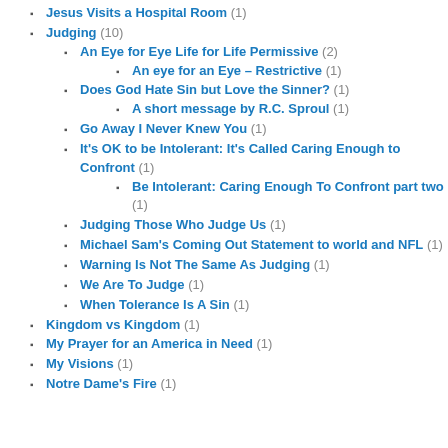Jesus Visits a Hospital Room (1)
Judging (10)
An Eye for Eye Life for Life Permissive (2)
An eye for an Eye – Restrictive (1)
Does God Hate Sin but Love the Sinner? (1)
A short message by R.C. Sproul (1)
Go Away I Never Knew You (1)
It's OK to be Intolerant: It's Called Caring Enough to Confront (1)
Be Intolerant: Caring Enough To Confront part two (1)
Judging Those Who Judge Us (1)
Michael Sam's Coming Out Statement to world and NFL (1)
Warning Is Not The Same As Judging (1)
We Are To Judge (1)
When Tolerance Is A Sin (1)
Kingdom vs Kingdom (1)
My Prayer for an America in Need (1)
My Visions (1)
Notre Dame's Fire (1)